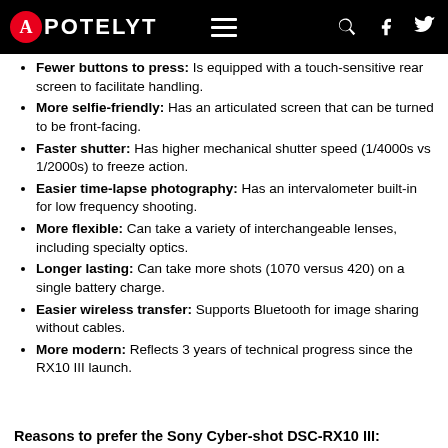APOTELYT
Fewer buttons to press: Is equipped with a touch-sensitive rear screen to facilitate handling.
More selfie-friendly: Has an articulated screen that can be turned to be front-facing.
Faster shutter: Has higher mechanical shutter speed (1/4000s vs 1/2000s) to freeze action.
Easier time-lapse photography: Has an intervalometer built-in for low frequency shooting.
More flexible: Can take a variety of interchangeable lenses, including specialty optics.
Longer lasting: Can take more shots (1070 versus 420) on a single battery charge.
Easier wireless transfer: Supports Bluetooth for image sharing without cables.
More modern: Reflects 3 years of technical progress since the RX10 III launch.
Reasons to prefer the Sony Cyber-shot DSC-RX10 III: